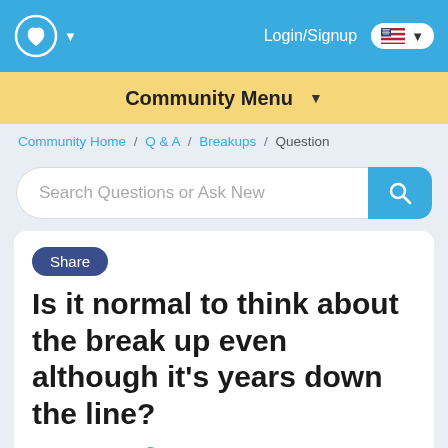Login/Signup
Community Menu
Community Home / Q & A / Breakups / Question
Search Questions or Ask New
Share
Is it normal to think about the break up even although it's years down the line?
19 Answers  Last Updated: 11/23/2021 at 5:37am